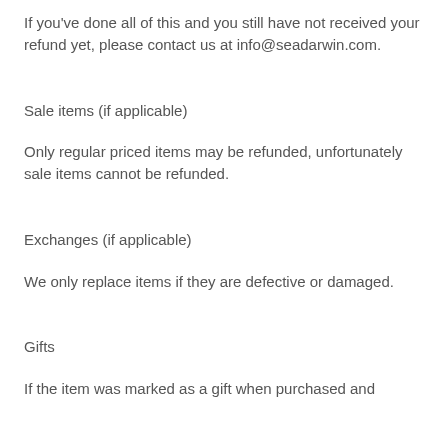If you've done all of this and you still have not received your refund yet, please contact us at info@seadarwin.com.
Sale items (if applicable)
Only regular priced items may be refunded, unfortunately sale items cannot be refunded.
Exchanges (if applicable)
We only replace items if they are defective or damaged.
Gifts
If the item was marked as a gift when purchased and